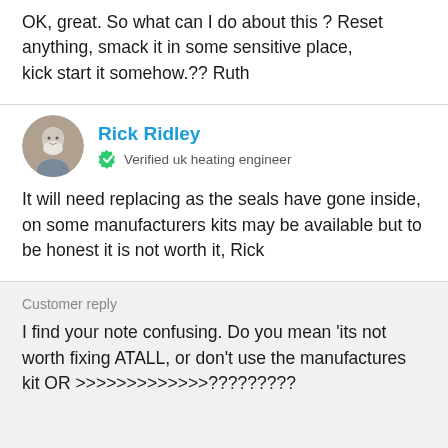OK, great. So what can I do about this ? Reset anything, smack it in some sensitive place, kick start it somehow.?? Ruth
Rick Ridley
Verified uk heating engineer
It will need replacing as the seals have gone inside, on some manufacturers kits may be available but to be honest it is not worth it, Rick
Customer reply
I find your note confusing. Do you mean 'its not worth fixing ATALL, or don't use the manufactures kit OR >>>>>>>>>>>>>?????????